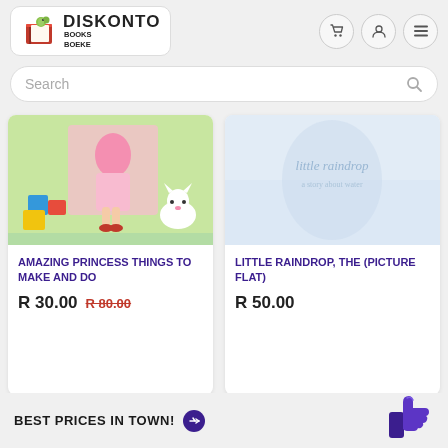[Figure (logo): Diskonto Books Boeke logo with red book and green worm]
[Figure (screenshot): Search bar with placeholder text Search and magnifying glass icon]
[Figure (illustration): Book cover - Amazing Princess Things to Make and Do - colorful illustration with princess items and cat]
AMAZING PRINCESS THINGS TO MAKE AND DO
R 30.00  R 80.00
[Figure (illustration): Book cover - Little Raindrop, The (Picture Flat) - light blue pastel cover]
LITTLE RAINDROP, THE (PICTURE FLAT)
R 50.00
BEST PRICES IN TOWN!